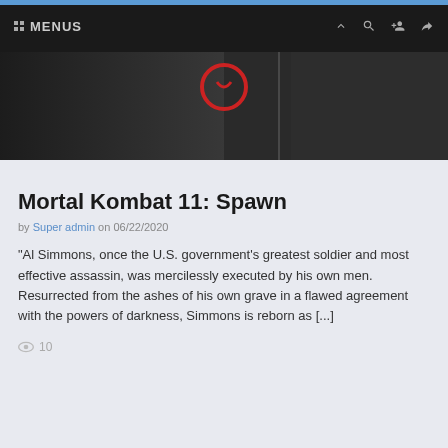MENUS
[Figure (screenshot): Dark hero image showing Mortal Kombat 11 Spawn character, partially visible with a red circular logo element in the center]
Mortal Kombat 11: Spawn
by Super admin  on 06/22/2020
“Al Simmons, once the U.S. government’s greatest soldier and most effective assassin, was mercilessly executed by his own men. Resurrected from the ashes of his own grave in a flawed agreement with the powers of darkness, Simmons is reborn as [...]
10